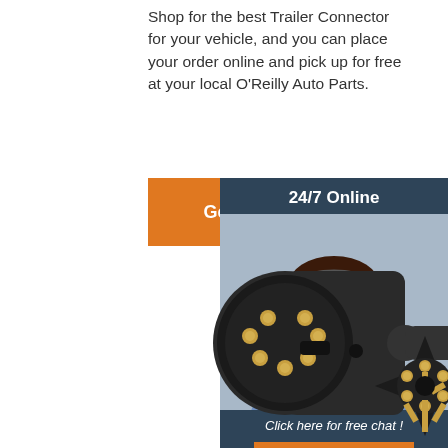Shop for the best Trailer Connector for your vehicle, and you can place your order online and pick up for free at your local O'Reilly Auto Parts.
[Figure (other): Orange 'Get Price' button]
[Figure (other): 24/7 Online customer service chat box with woman wearing headset, 'Click here for free chat!' text, and orange QUOTATION button]
[Figure (photo): Product photos: black 7-pin trailer connector plug and black trailer socket connector with gold pins]